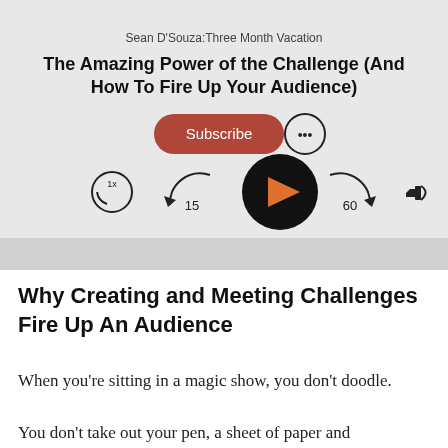Sean D'Souza:Three Month Vacation
The Amazing Power of the Challenge (And How To Fire Up Your Audience)
[Figure (screenshot): Podcast player UI with Subscribe button, more options button, and audio controls including speed (1x), rewind 15s, play, fast-forward 60s, and volume buttons]
Why Creating and Meeting Challenges Fire Up An Audience
When you're sitting in a magic show, you don't doodle.
You don't take out your pen, a sheet of paper and